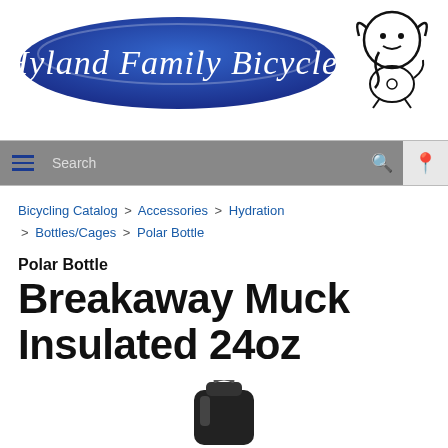[Figure (logo): Hyland Family Bicycles store logo with blue ellipse and decorative script text, plus a cartoon cyclist mascot on the right]
[Figure (screenshot): Navigation bar with hamburger menu, search box, search icon, and location pin icon on grey background]
Bicycling Catalog > Accessories > Hydration > Bottles/Cages > Polar Bottle
Polar Bottle
Breakaway Muck Insulated 24oz
[Figure (photo): Bottom portion of a dark/black insulated water bottle with cap visible]